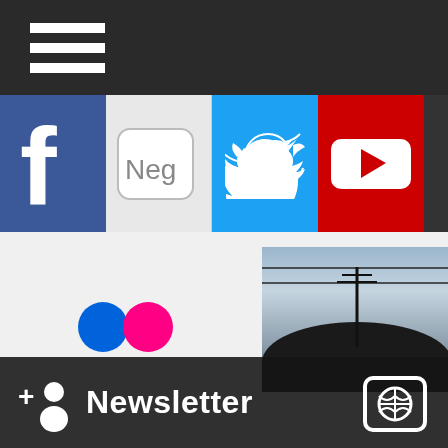[Figure (screenshot): Dark top navigation bar with white hamburger/menu icon (three horizontal lines)]
[Figure (screenshot): Social media icons row: Facebook (blue), Nega (gray), Twitter (light blue), YouTube (red), and partial fifth icon]
[Figure (screenshot): Flickr icon (blue and pink circles) on gray background on left; outdoor photo of sky and building arc on right]
[Figure (screenshot): Dark bottom banner with white add-person icon, 'Newsletter' text in white, and globe/share icon on right]